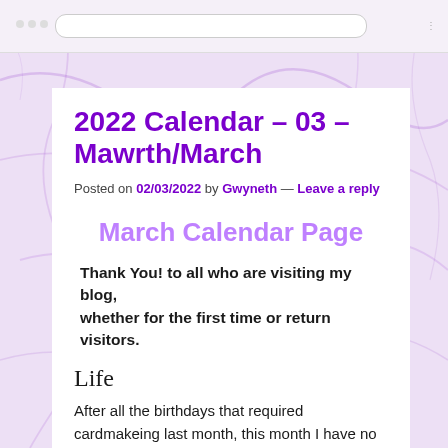2022 Calendar – 03 – Mawrth/March
Posted on 02/03/2022 by Gwyneth — Leave a reply
March Calendar Page
Thank You! to all who are visiting my blog, whether for the first time or return visitors.
Life
After all the birthdays that required cardmakeing last month, this month I have no birthdays to make cards for – that I can remember!